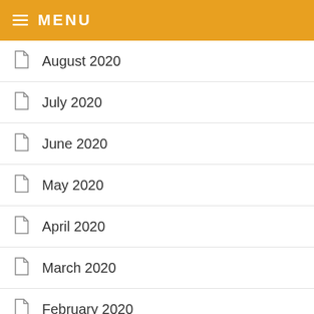MENU
August 2020
July 2020
June 2020
May 2020
April 2020
March 2020
February 2020
January 2020
December 2019